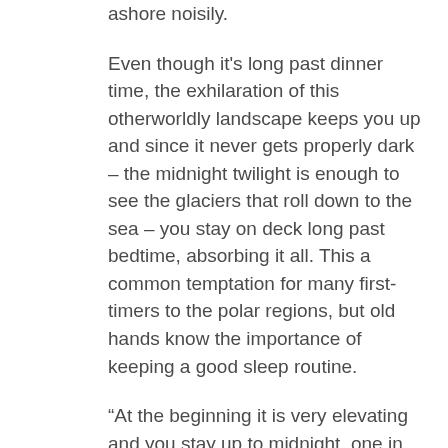ashore noisily.
Even though it's long past dinner time, the exhilaration of this otherworldly landscape keeps you up and since it never gets properly dark – the midnight twilight is enough to see the glaciers that roll down to the sea – you stay on deck long past bedtime, absorbing it all. This a common temptation for many first-timers to the polar regions, but old hands know the importance of keeping a good sleep routine.
“At the beginning it is very elevating and you stay up to midnight, one in the morning, and you will feel fantastic. And then you might get up at 4am or 5am because you are in the pack ice and you feel you have to look out for polar bears. But after three or four days, if you are not getting enough sleep, you have to be careful because you realise you are not making the best decisions,” says Hannah Lawson,